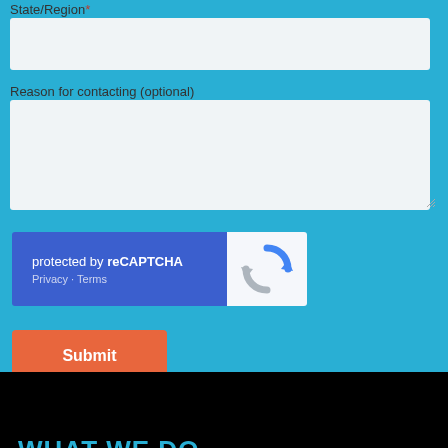State/Region*
Reason for contacting (optional)
[Figure (screenshot): reCAPTCHA widget with blue left panel showing 'protected by reCAPTCHA' text with Privacy and Terms links, and white right panel with reCAPTCHA logo]
Submit
WHAT WE DO